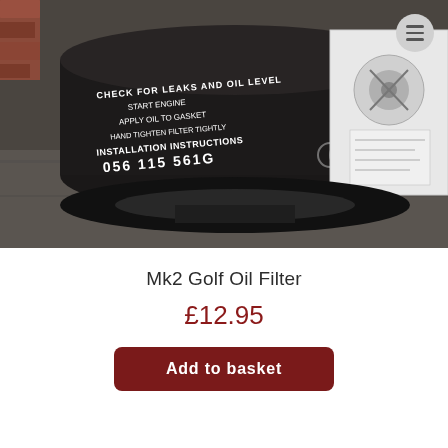[Figure (photo): Close-up photo of a black cylindrical oil filter (part number 056 115 561G) lying on a grey stone surface, with white installation instructions text visible on the label, and a product box partially visible on the right side.]
Mk2 Golf Oil Filter
£12.95
Add to basket